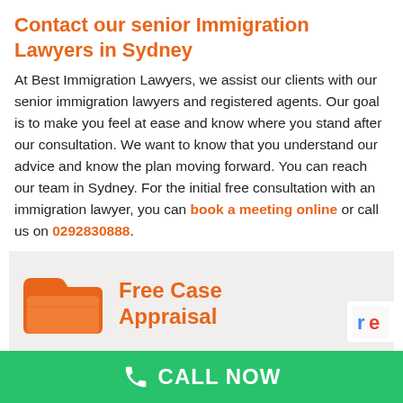Contact our senior Immigration Lawyers in Sydney
At Best Immigration Lawyers, we assist our clients with our senior immigration lawyers and registered agents. Our goal is to make you feel at ease and know where you stand after our consultation. We want to know that you understand our advice and know the plan moving forward. You can reach our team in Sydney. For the initial free consultation with an immigration lawyer, you can book a meeting online or call us on 0292830888.
[Figure (infographic): Orange folder icon with 'Free Case Appraisal' text in orange on light grey background]
Leave us a message and we'll call you back!
CALL NOW